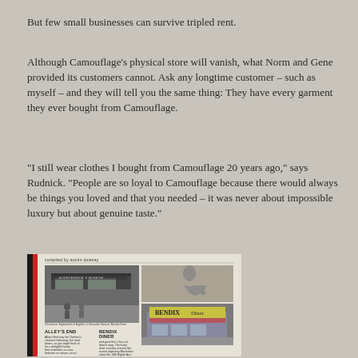But few small businesses can survive tripled rent.
Although Camouflage's physical store will vanish, what Norm and Gene provided its customers cannot. Ask any longtime customer – such as myself – and they will tell you the same thing: They have every garment they ever bought from Camouflage.
“I still wear clothes I bought from Camouflage 20 years ago,” says Rudnick. “People are so loyal to Camouflage because there would always be things you loved and that you needed – it was never about impossible luxury but about genuine taste.”
[Figure (photo): A scanned magazine clipping with the header 'compiled by austin downey', showing a photo of a restaurant exterior on the left, an illustration on the top right, and a photo of the Bendix Diner on the bottom right, with text columns below including 'ALLEY'S END' and 'BENDIX DINER' headings.]